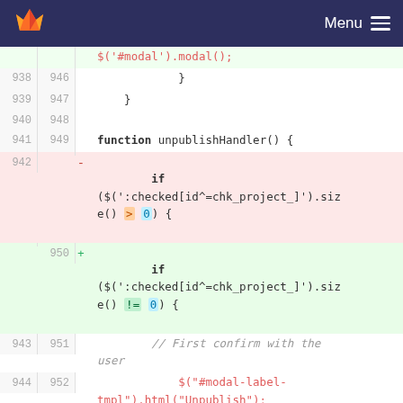[Figure (screenshot): GitLab web interface with dark navy top navigation bar showing GitLab logo and Menu hamburger icon]
Code diff view showing lines 938-953 with function unpublishHandler and conditional checks for checked checkboxes. Lines 942 (deleted) check size() > 0, lines 950 (added) check size() != 0. Lines 943-945/951-953 show comments and jQuery modal calls.